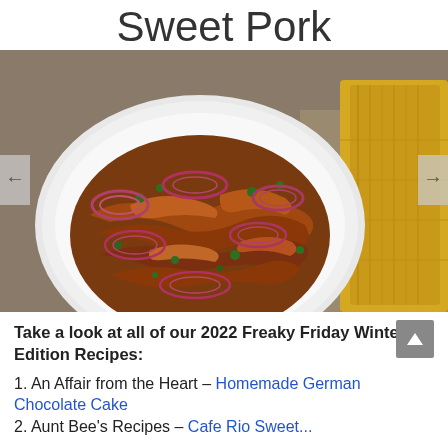Sweet Pork
[Figure (photo): A white plate piled with shredded sweet pork, garnished with sliced red onions and green herbs (cilantro). A folded yellow cloth napkin and a woven placemat are visible in the background.]
Take a look at all of our 2022 Freaky Friday Winter Edition Recipes:
1. An Affair from the Heart – Homemade German Chocolate Cake
2. Aunt Bee's Recipes – Cafe Rio Sweet...